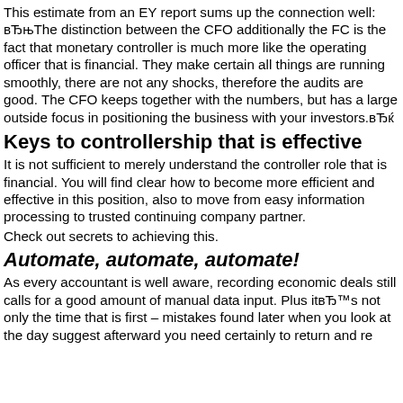This estimate from an EY report sums up the connection well: вЂњThe distinction between the CFO additionally the FC is the fact that monetary controller is much more like the operating officer that is financial. They make certain all things are running smoothly, there are not any shocks, therefore the audits are good. The CFO keeps together with the numbers, but has a large outside focus in positioning the business with your investors.вЂќ
Keys to controllership that is effective
It is not sufficient to merely understand the controller role that is financial. You will find clear how to become more efficient and effective in this position, also to move from easy information processing to trusted continuing company partner.
Check out secrets to achieving this.
Automate, automate, automate!
As every accountant is well aware, recording economic deals still calls for a good amount of manual data input. Plus itвЂ™s not only the time that is first – mistakes found later when you look at the day suggest afterward you need certainly to return and re